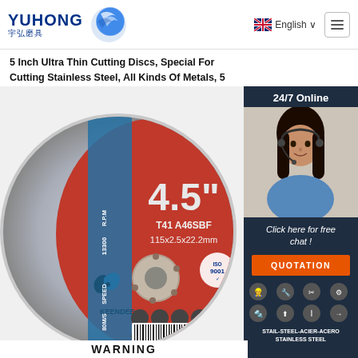[Figure (logo): Yuhong abrasives logo with blue disc/flame icon, company name in English 'YUHONG' and Chinese '宇弘磨具']
English ∨
5 Inch Ultra Thin Cutting Discs, Special For Cutting Stainless Steel, All Kinds Of Metals, 5 Inches
[Figure (photo): 4.5 inch cutting disc (KEENDEE brand) showing red and blue face label with text: 4.5", T41 A46SBF, 115x2.5x22.2mm, R.P.M 13300, SPEED 80M/S, barcode 6210906 000378, ISO 9001 certification mark, usage icons, STAIL-STEEL-ACIER-ACERO STAINLESS STEEL text, WARNING text at bottom]
24/7 Online
Click here for free chat !
QUOTATION
STAIL-STEEL-ACIER-ACERO
STAINLESS STEEL
WARNING